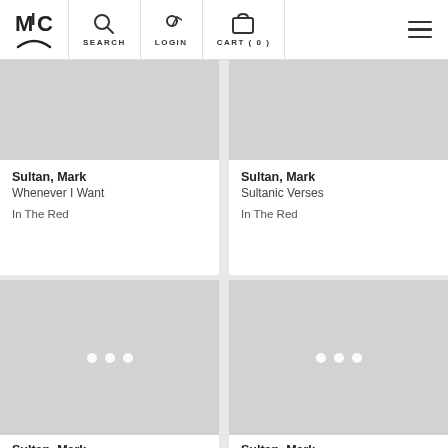MIC logo | SEARCH | LOGIN | CART (0)
[Figure (screenshot): Product card image placeholder (grey) for Sultan, Mark - Whenever I Want]
Sultan, Mark
Whenever I Want

In The Red
[Figure (screenshot): Product card image placeholder (grey) for Sultan, Mark - Sultanic Verses]
Sultan, Mark
Sultanic Verses

In The Red
[Figure (screenshot): Product card image placeholder (grey with loading dots) for Sultan, Mark - War on Rock 'n' Roll]
Sultan, Mark
War on Rock 'n' Roll
[Figure (screenshot): Product card image placeholder (grey with loading dots) for Sultan, Mark - Filthy Rat]
Sultan, Mark
Filthy Rat